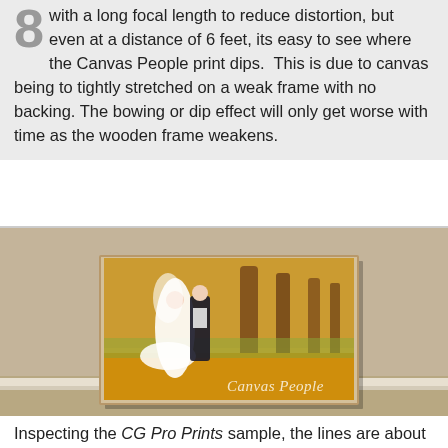8 with a long focal length to reduce distortion, but even at a distance of 6 feet, its easy to see where the Canvas People print dips.  This is due to canvas being to tightly stretched on a weak frame with no backing. The bowing or dip effect will only get worse with time as the wooden frame weakens.
[Figure (photo): A canvas print leaning against a wall showing a wedding couple (bride in white dress and groom in black tuxedo) standing in an autumn park with golden fallen leaves and trees. The canvas print has a 'Canvas People' watermark in the lower right corner.]
Inspecting the CG Pro Prints sample, the lines are about as